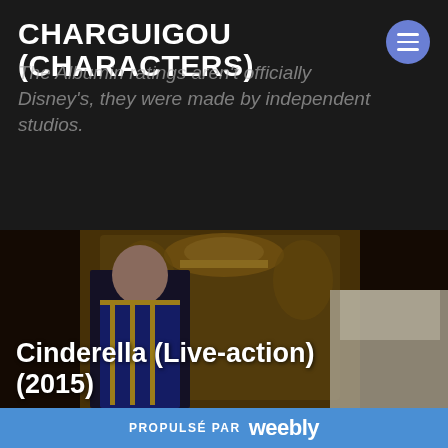CHARGUIGOU (CHARACTERS)
The Albumin ratings aren't officially Disney's, they were made by independent studios.
[Figure (photo): A scene from Cinderella (Live-action) 2015 movie showing a man in a blue military uniform with gold trim seated next to a woman in a white dress, with ornate gold baroque decor in the background.]
Cinderella (Live-action) (2015)
PROPULSÉ PAR weebly